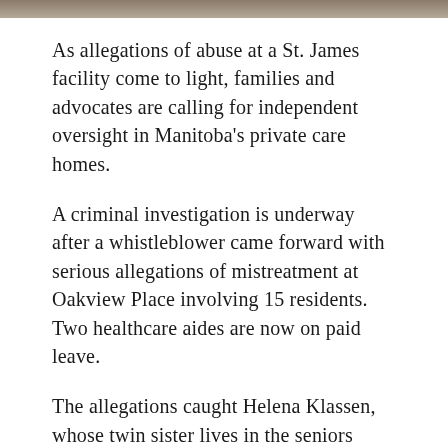[Figure (photo): Partial image strip at the top of the page, appearing to be a cropped photo.]
As allegations of abuse at a St. James facility come to light, families and advocates are calling for independent oversight in Manitoba's private care homes.
A criminal investigation is underway after a whistleblower came forward with serious allegations of mistreatment at Oakview Place involving 15 residents. Two healthcare aides are now on paid leave.
The allegations caught Helena Klassen, whose twin sister lives in the seniors home, off guard.
"I've been visiting her for so many years and I thought the people and nurses were really nice," she said. "I